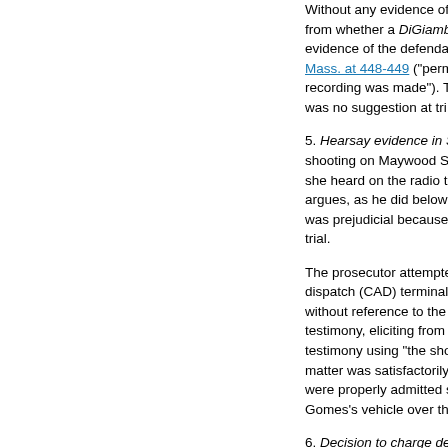Without any evidence of... from whether a DiGiamb... evidence of the defenda... Mass. at 448-449 ("perm... recording was made"). T... was no suggestion at tri...
5. Hearsay evidence in S... shooting on Maywood S... she heard on the radio t... argues, as he did below,... was prejudicial because... trial.
The prosecutor attempte... dispatch (CAD) terminal... without reference to the... testimony, eliciting from... testimony using "the sho... matter was satisfactorily... were properly admitted s... Gomes's vehicle over th...
6. Decision to charge de... including participants in... strike the testimony. The... immediately proceeded... detective answered, "Th... investigation" (emphasis... testimony to which ther...